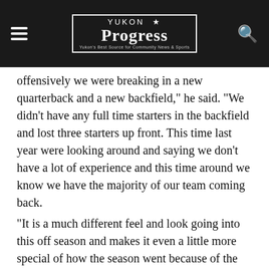Yukon Progress
offensively we were breaking in a new quarterback and a new backfield," he said. "We didn't have any full time starters in the backfield and lost three starters up front. This time last year were looking around and saying we don't have a lot of experience and this time around we know we have the majority of our team coming back.
“It is a much different feel and look going into this off season and makes it even a little more special of how the season went because of the impact players we lost and all the new people we had to do it with.”
And, this team, with all that inexperience, led the state in rushing this season. The Millers total 4,046 yards on the ground in 557 rushes, a 7.3 yard per carry average and scored 45 touchdowns.
In the last four games of the year, the Millers averaged 470